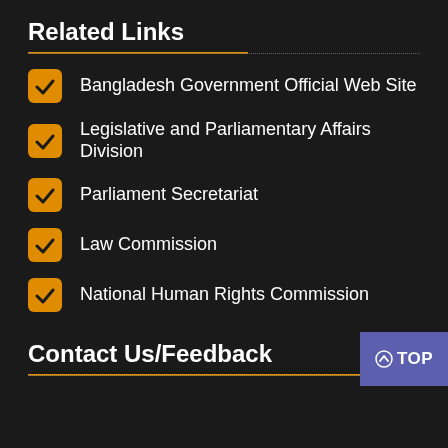Related Links
Bangladesh Government Official Web Site
Legislative and Parliamentary Affairs Division
Parliament Secretariat
Law Commission
National Human Rights Commission
Contact Us/Feedback
Legislative and Parliamentary Affairs Division
Ministry of Law, Justice and Parliamentary Affairs
Bangladesh Secretariat, Dhaka - 1000, Bangladesh.